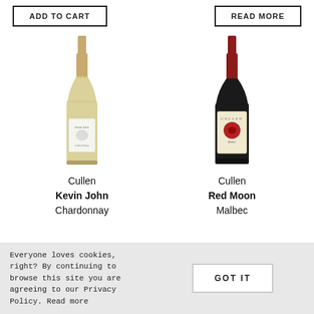ADD TO CART
READ MORE
[Figure (photo): White wine bottle - Cullen Kevin John Chardonnay]
[Figure (photo): Red wine bottle - Cullen Red Moon Malbec]
Cullen Kevin John Chardonnay
Cullen Red Moon Malbec
Everyone loves cookies, right? By continuing to browse this site you are agreeing to our Privacy Policy. Read more
GOT IT